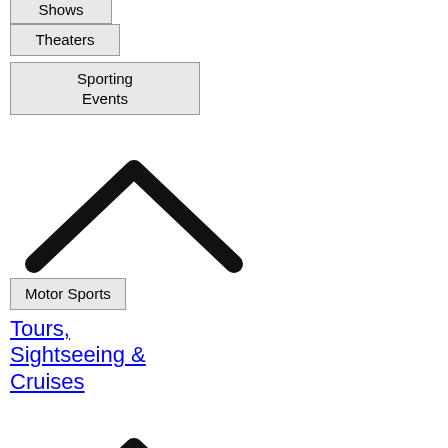Shows
Theaters
Sporting Events
[Figure (illustration): Chevron/caret up arrow icon]
Motor Sports
Tours, Sightseeing & Cruises
[Figure (illustration): Chevron/caret up arrow icon]
Cruises & Sailing
[Figure (illustration): Chevron/caret up arrow icon]
Day Cruises
Sightseeing Cruises
How to Get